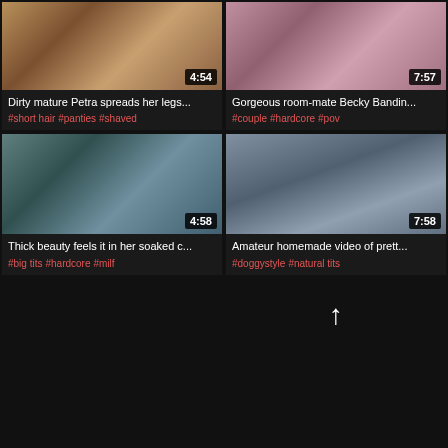[Figure (screenshot): Video thumbnail 1 with duration 4:54]
Dirty mature Petra spreads her legs...
#short hair  #panties  #shaved
[Figure (screenshot): Video thumbnail 2 with duration 7:57]
Gorgeous room-mate Becky Bandin...
#couple  #hardcore  #pov
[Figure (screenshot): Video thumbnail 3 with duration 4:58]
Thick beauty feels it in her soaked c...
#big tits  #hardcore  #milf
[Figure (screenshot): Video thumbnail 4 with duration 7:58]
Amateur homemade video of prett...
#doggystyle  #natural tits
[Figure (screenshot): Video thumbnail 5 - dark/empty]
[Figure (screenshot): Video thumbnail 6 - dark with up arrow icon]